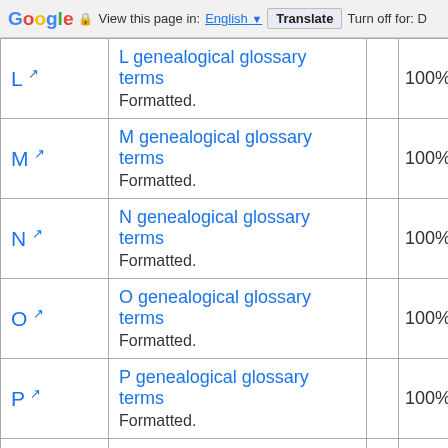Google  View this page in: English [▼]  Translate  Turn off for: D
|  |  |  |  |
| --- | --- | --- | --- |
| L ↗ | L genealogical glossary terms
Formatted. |  | 100% |
| M ↗ | M genealogical glossary terms
Formatted. |  | 100% |
| N ↗ | N genealogical glossary terms
Formatted. |  | 100% |
| O ↗ | O genealogical glossary terms
Formatted. |  | 100% |
| P ↗ | P genealogical glossary terms
Formatted. |  | 100% |
| Q ↗ | Q genealogical glossary terms |  | 100% |
| R ↗ | Formatted. |  | 0% |
Redirected from "Task to Copy Research Guidance and Help Content"